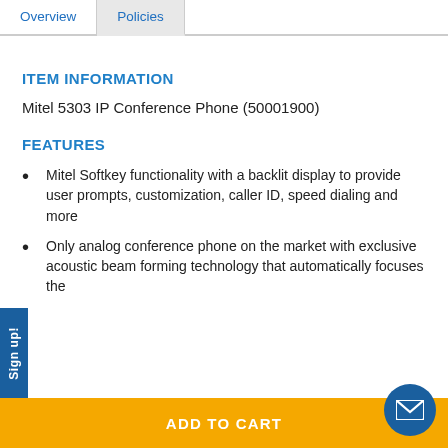Overview | Policies
ITEM INFORMATION
Mitel 5303 IP Conference Phone (50001900)
FEATURES
Mitel Softkey functionality with a backlit display to provide user prompts, customization, caller ID, speed dialing and more
Only analog conference phone on the market with exclusive acoustic beam forming technology that automatically focuses the